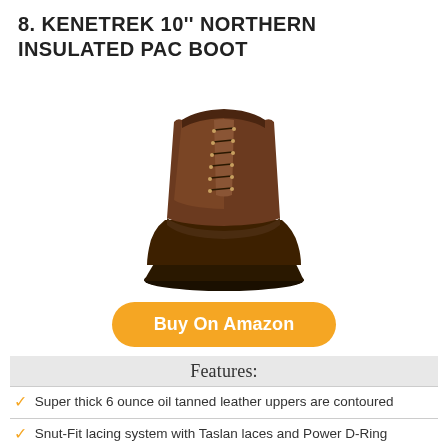8. KENETREK 10'' NORTHERN INSULATED PAC BOOT
[Figure (photo): Brown Kenetrek 10'' Northern Insulated Pac Boot with lace-up upper and rubber lower, shown at an angle]
Buy On Amazon
| Features: |
| --- |
| Super thick 6 ounce oil tanned leather uppers are contoured |
| Snut-Fit lacing system with Taslan laces and Power D-Ring |
| Removable 6 mm thick three part liner quilted from a wicking |
| Hand-made rubber outsoles are vulcanized for durability and |